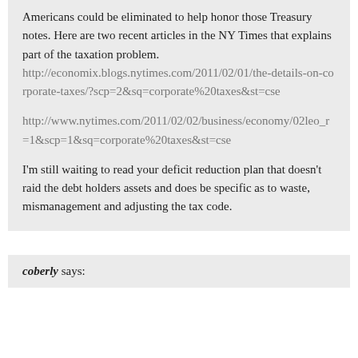Americans could be eliminated to help honor those Treasury notes.  Here are two recent articles in the NY Times that explains part of the taxation problem.
http://economix.blogs.nytimes.com/2011/02/01/the-details-on-corporate-taxes/?scp=2&sq=corporate%20taxes&st=cse
http://www.nytimes.com/2011/02/02/business/economy/02leo_r=1&scp=1&sq=corporate%20taxes&st=cse
I'm still waiting to read your deficit reduction plan that doesn't raid the debt holders assets and does be specific as to waste, mismanagement and adjusting the tax code.
coberly says: